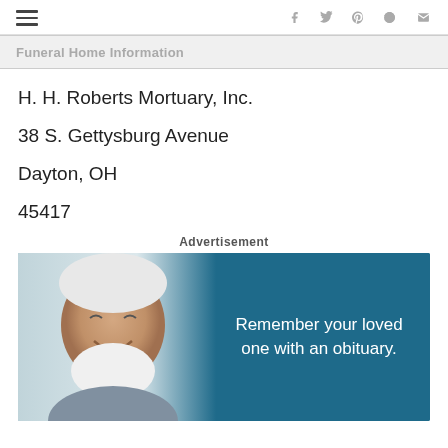Funeral Home Information
Funeral Home Information
H. H. Roberts Mortuary, Inc.
38 S. Gettysburg Avenue
Dayton, OH
45417
Advertisement
[Figure (photo): Advertisement image showing an elderly man smiling with white beard and hair, next to teal background with text 'Remember your loved one with an obituary.']